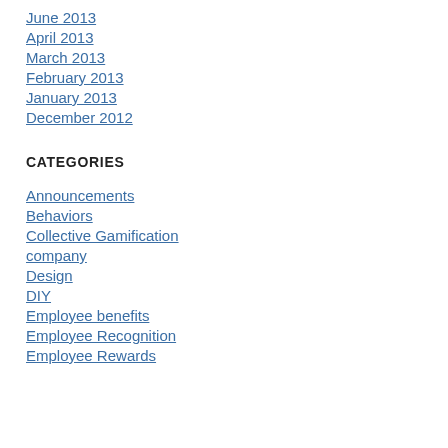June 2013
April 2013
March 2013
February 2013
January 2013
December 2012
CATEGORIES
Announcements
Behaviors
Collective Gamification
company
Design
DIY
Employee benefits
Employee Recognition
Employee Rewards